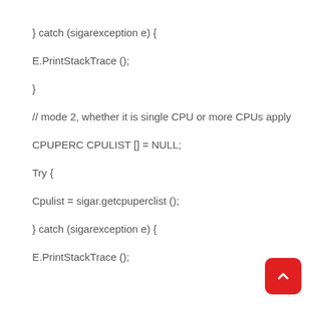} catch (sigarexception e) {
E.PrintStackTrace ();
}
// mode 2, whether it is single CPU or more CPUs apply
CPUPERC CPULIST [] = NULL;
Try {
Cpulist = sigar.getcpuperclist ();
} catch (sigarexception e) {
E.PrintStackTrace ();